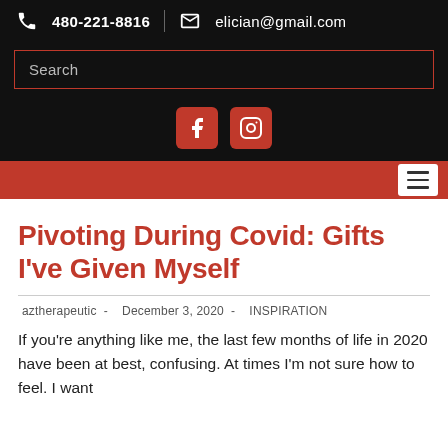480-221-8816  elician@gmail.com
[Figure (screenshot): Search bar with red border on black background]
[Figure (screenshot): Social media icons: Facebook and Instagram buttons in red on black background]
[Figure (screenshot): Red navigation bar with hamburger menu icon on the right]
Pivoting During Covid: Gifts I've Given Myself
aztherapeutic  -  December 3, 2020  -  INSPIRATION
If you're anything like me, the last few months of life in 2020 have been at best, confusing. At times I'm not sure how to feel. I want